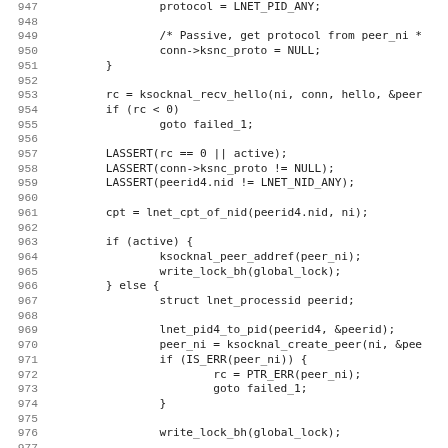[Figure (screenshot): Source code listing showing lines 947-979 of a C file, with line numbers on the left and monospace code on the right. The code shows socket connection logic including passive protocol handling, LASSERT checks, and peer creation.]